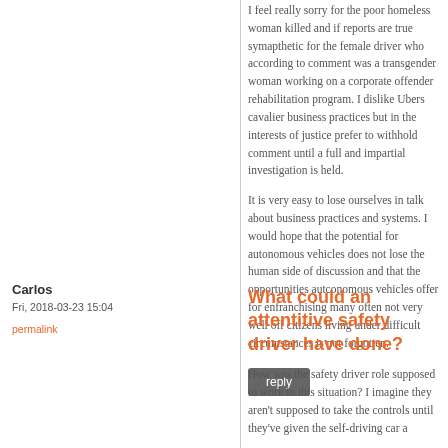I feel really sorry for the poor homeless woman killed and if reports are true symapthetic for the female driver who according to comment was a transgender woman working on a corporate offender rehabilitation program. I dislike Ubers cavalier business practices but in the interests of justice prefer to withhold comment until a full and impartial investigation is held.
It is very easy to lose ourselves in talk about business practices and systems. I would hope that the potential for autonomous vehicles does not lose the human side of discussion and that the opportunities autconomous vehicles offer for enfranchising many often not very well off citizens living under difficult circumstances is not forgotten.
reply
Carlos
Fri, 2018-03-23 15:04
permalink
What could an attentitive safety driver have done?
How was the safety driver role supposed to work in this situation? I imagine they aren't supposed to take the controls until they've given the self-driving car a